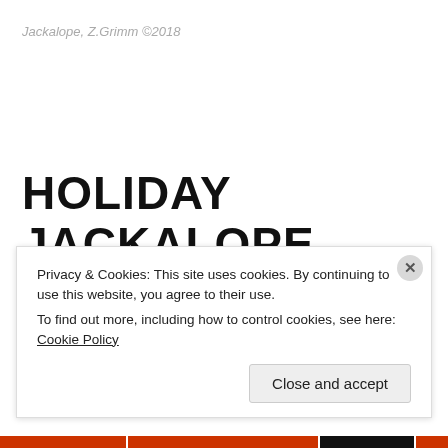Jackalope, Z.Grimm ©2018
HOLIDAY JACKALOPE
Posted on December 21, 2018
Privacy & Cookies: This site uses cookies. By continuing to use this website, you agree to their use.
To find out more, including how to control cookies, see here: Cookie Policy
Close and accept